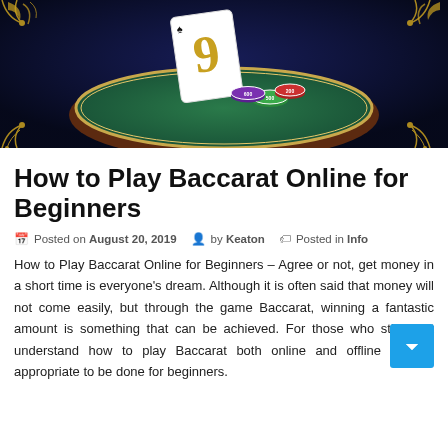[Figure (illustration): Baccarat casino game illustration with a large golden '9' card, poker chips (green, purple, red), and gold decorative filigree corners on a dark blue background with a green oval table surface.]
How to Play Baccarat Online for Beginners
Posted on August 20, 2019   by Keaton   Posted in Info
How to Play Baccarat Online for Beginners – Agree or not, get money in a short time is everyone's dream. Although it is often said that money will not come easily, but through the game Baccarat, winning a fantastic amount is something that can be achieved. For those who still don't understand how to play Baccarat both online and offline is very appropriate to be done for beginners.